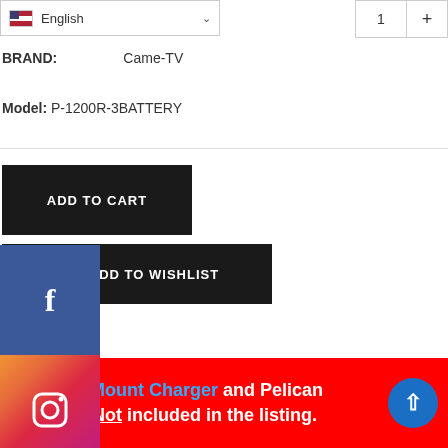English (language selector dropdown)
BRAND: Came-TV
Model: P-1200R-3BATTERY
ADD TO CART
ADD TO WISHLIST
otion   Shipping
NOTE: V-Mount Charger and Pelican Case are Not included in the listing.